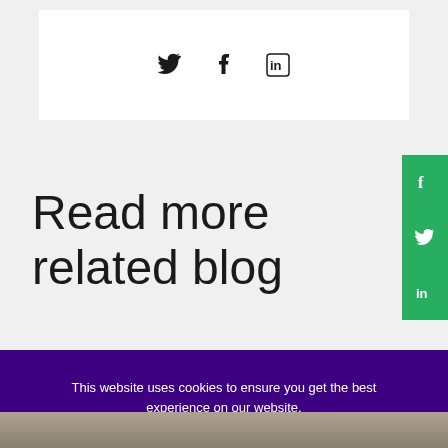[Figure (other): Social media share icons: Twitter, Facebook, LinkedIn inside a white card on light grey background]
Read more related blog
[Figure (other): Green sidebar with Facebook, Twitter, LinkedIn social share icons in white]
This website uses cookies to ensure you get the best experience on our website.
COOKIE SETTINGS
ACCEPT ALL COOKIES
[Figure (photo): Partial photo of people at the bottom of the page]